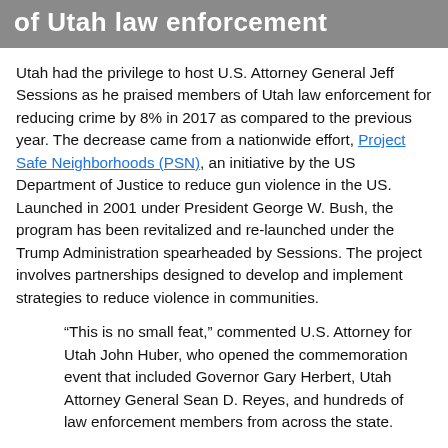of Utah law enforcement
Utah had the privilege to host U.S. Attorney General Jeff Sessions as he praised members of Utah law enforcement for reducing crime by 8% in 2017 as compared to the previous year. The decrease came from a nationwide effort, Project Safe Neighborhoods (PSN), an initiative by the US Department of Justice to reduce gun violence in the US. Launched in 2001 under President George W. Bush, the program has been revitalized and re-launched under the Trump Administration spearheaded by Sessions. The project involves partnerships designed to develop and implement strategies to reduce violence in communities.
“This is no small feat,” commented U.S. Attorney for Utah John Huber, who opened the commemoration event that included Governor Gary Herbert, Utah Attorney General Sean D. Reyes, and hundreds of law enforcement members from across the state.
Utah rates for violent crimes climbed at a higher rate than